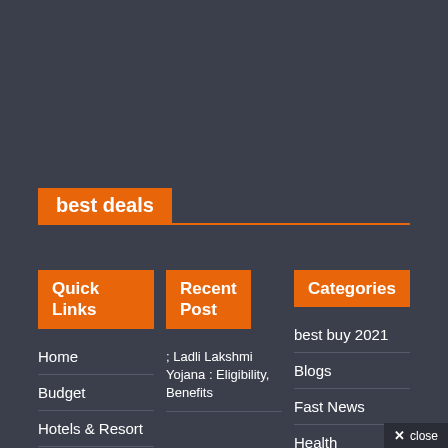best deals
Quick Links
Recent Post
Categories
Home
Budget
Hotels & Resort
Travel Guide
; Ladli Lakshmi Yojana : Eligibility, Benefits
best buy 2021
Blogs
Fast News
Health